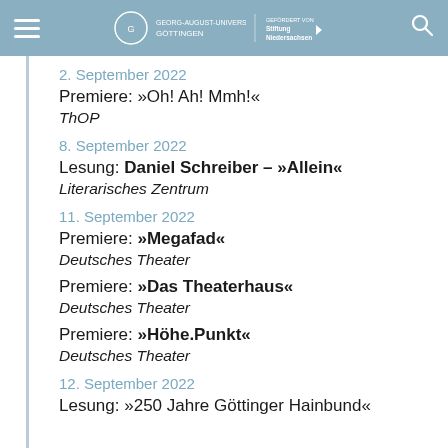Georg-August-Universität Göttingen | Stiftung Niedersachsen
2. September 2022
Premiere: »Oh! Ah! Mmh!«
ThOP
8. September 2022
Lesung: Daniel Schreiber – »Allein«
Literarisches Zentrum
11. September 2022
Premiere: »Megafad«
Deutsches Theater
Premiere: »Das Theaterhaus«
Deutsches Theater
Premiere: »Höhe.Punkt«
Deutsches Theater
12. September 2022
Lesung: »250 Jahre Göttinger Hainbund«